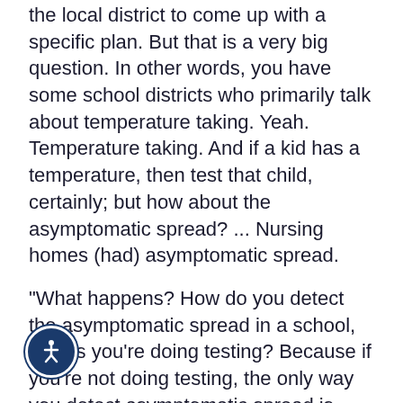the local district to come up with a specific plan. But that is a very big question. In other words, you have some school districts who primarily talk about temperature taking. Yeah. Temperature taking. And if a kid has a temperature, then test that child, certainly; but how about the asymptomatic spread? ... Nursing homes (had) asymptomatic spread.
"What happens? How do you detect the asymptomatic spread in a school, unless you're doing testing? Because if you're not doing testing, the only way you detect asymptomatic spread is when somebody gets sick.
"But that is a very good question. And that's a question that the local school districts are going to be asked – I can tell you that – from both the parents and the teachers. The answer is testing. But then the question comes, 'OK, what percentage of testing? Who's going to do the testing? Do you have that set up?' But that is a
[Figure (other): Accessibility icon (wheelchair figure in white on dark blue circle)]